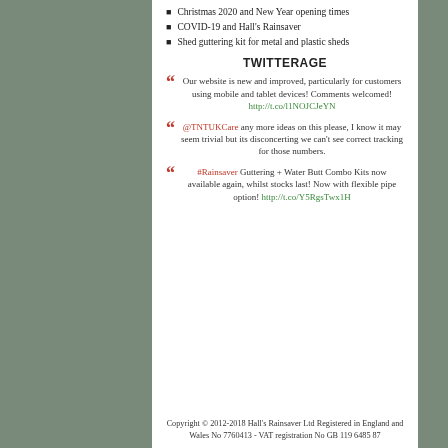Christmas 2020 and New Year opening times
COVID-19 and Hall's Rainsaver
Shed guttering kit for metal and plastic sheds
TWITTERAGE
Our website is new and improved, particularly for customers using mobile and tablet devices! Comments welcomed! http://t.co/l1NOJCJeYN
@TNTUKCare any more ideas on this please, I know it may seem trivial but its disconcerting we can't see correct tracking for those numbers.
#Rainsaver Guttering + Water Butt Combo Kits now available again, whilst stocks last! Now with flexible pipe option! http://t.co/Y5RgsTwx1H
Copyright © 2012-2018 Hall's Rainsaver Ltd Registered in England and Wales No 7760413 - VAT registration No GB 119 6485 87